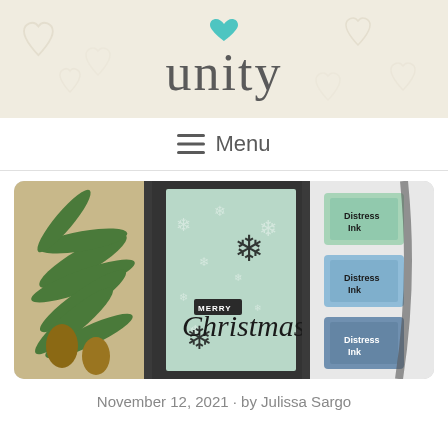[Figure (logo): Unity stamp company logo with teal heart above text 'unity' in gray serif font on cream/beige background with faint watermark hearts]
≡  Menu
[Figure (photo): Three-panel collage image: left panel shows pine branch with pinecones, center panel shows handmade Christmas card with 'Merry Christmas' text and snowflake stamps on light blue/green background, right panel shows Distress Ink pads (three stacked) and craft supplies]
November 12, 2021 · by Julissa Sargo